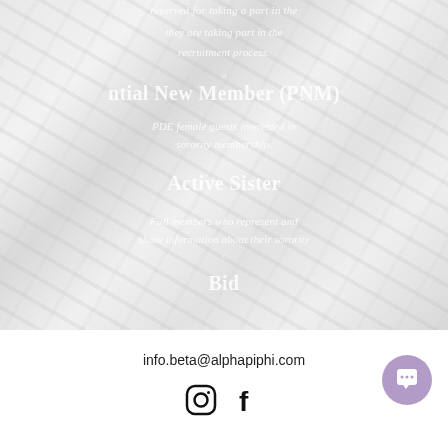[Figure (photo): Marble texture background with overlaid white semi-transparent italic and bold text describing recruitment roles: Potential New Member (PNM), Active Sister, and Bid.]
reserved for taking a part in the
they are taking part in the
recruitment process.
Potential New Member (PNM)
PDE female guests interested in
sorority membership.
Active Sister
Full members who represent and
share information about their sorority
Bid
info.beta@alphapiphi.com
[Figure (logo): Instagram logo icon (black outline circle with camera symbol)]
[Figure (logo): Facebook logo icon (black F letter)]
[Figure (other): Purple circular chat/message bubble button in bottom right corner]